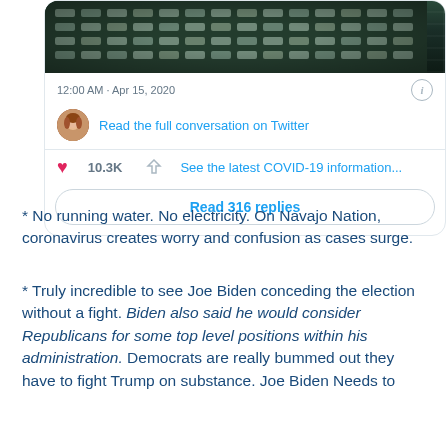[Figure (screenshot): Twitter embed card showing a tweet image (aerial view of cots/beds), timestamp '12:00 AM · Apr 15, 2020', avatar, 'Read the full conversation on Twitter' link, heart icon with 10.3K likes, bolt icon with 'See the latest COVID-19 information...' text, and a 'Read 316 replies' button.]
* No running water. No electricity. On Navajo Nation, coronavirus creates worry and confusion as cases surge.
* Truly incredible to see Joe Biden conceding the election without a fight. Biden also said he would consider Republicans for some top level positions within his administration. Democrats are really bummed out they have to fight Trump on substance. Joe Biden Needs to